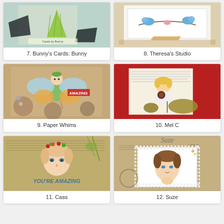[Figure (photo): Craft card with green skirt/dress illustration on patterned background, labeled Cards by Bunny]
7. Bunny's Cards: Bunny
[Figure (photo): Craft card with blue birds on a branch illustration on light background]
8. Theresa's Studio
[Figure (photo): Craft card with fairy/butterfly character with large colorful wings on patterned background]
9. Paper Whims
[Figure (photo): Craft card with blonde girl and gold butterfly on red background]
10. Mel C
[Figure (photo): Craft card with girl wearing floral crown on textured/stamped background, text says AMAZING]
11. Cass
[Figure (photo): Craft card with vintage-style girl portrait in lace frame on brown textured background]
12. Suze